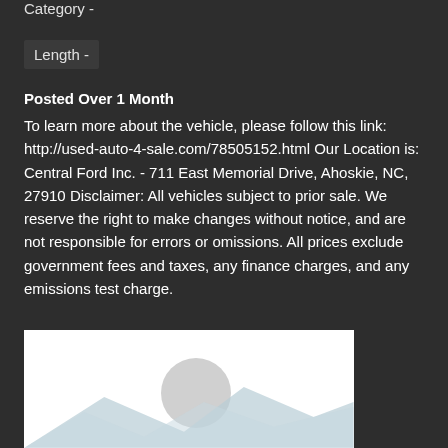Category -
Length -
Posted Over 1 Month
To learn more about the vehicle, please follow this link: http://used-auto-4-sale.com/78505152.html Our Location is: Central Ford Inc. - 711 East Memorial Drive, Ahoskie, NC, 27910 Disclaimer: All vehicles subject to prior sale. We reserve the right to make changes without notice, and are not responsible for errors or omissions. All prices exclude government fees and taxes, any finance charges, and any emissions test charge.
[Figure (photo): Placeholder image with grey circle and blue mountain silhouette shapes on white background]